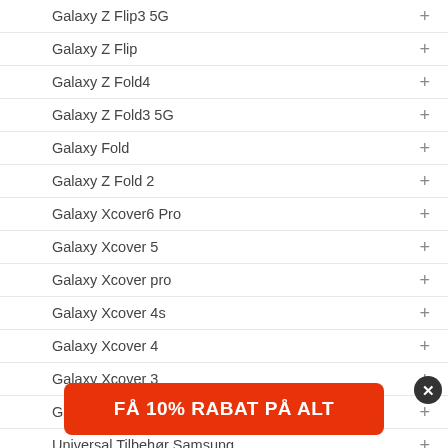Galaxy Z Flip3 5G
Galaxy Z Flip
Galaxy Z Fold4
Galaxy Z Fold3 5G
Galaxy Fold
Galaxy Z Fold 2
Galaxy Xcover6 Pro
Galaxy Xcover 5
Galaxy Xcover pro
Galaxy Xcover 4s
Galaxy Xcover 4
Galaxy Xcover 3
Galaxy Ace Style/Ace4
Universal Tilbehør Samsung
Oplader/kabler
Sony tilbehør
Microsoft tilbehør
Nokia
OnePlus
FÅ 10% RABAT PÅ ALT